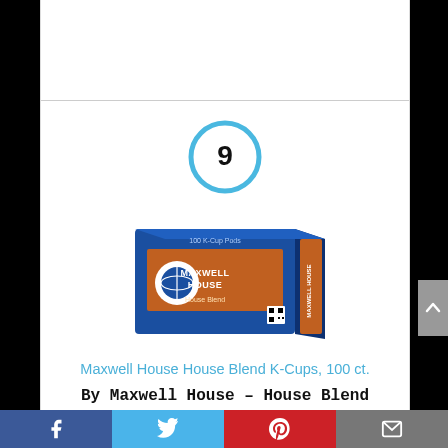[Figure (other): Rank number 9 inside a light blue circle]
[Figure (photo): Maxwell House House Blend K-Cups 100 ct. product box photo]
Maxwell House House Blend K-Cups, 100 ct.
By Maxwell House – House Blend Coffee (100 K-Cups)
Facebook  Twitter  Pinterest  Email